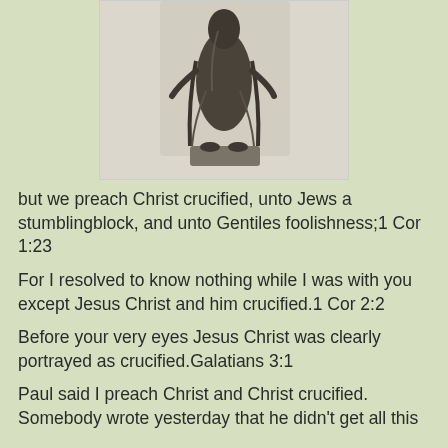[Figure (photo): A dark bronze or metal sculpture/statue of a robed figure on a rectangular base, photographed against a light/white background.]
but we preach Christ crucified, unto Jews a stumblingblock, and unto Gentiles foolishness;1 Cor 1:23
For I resolved to know nothing while I was with you except Jesus Christ and him crucified.1 Cor 2:2
Before your very eyes Jesus Christ was clearly portrayed as crucified.Galatians 3:1
Paul said I preach Christ and Christ crucified. Somebody wrote yesterday that he didn't get all this